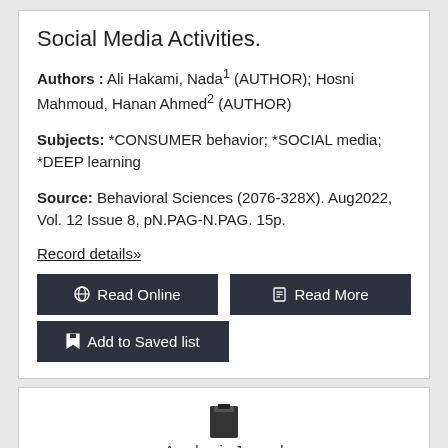Social Media Activities.
Authors : Ali Hakami, Nada1 (AUTHOR); Hosni Mahmoud, Hanan Ahmed2 (AUTHOR)
Subjects: *CONSUMER behavior; *SOCIAL media; *DEEP learning
Source: Behavioral Sciences (2076-328X). Aug2022, Vol. 12 Issue 8, pN.PAG-N.PAG. 15p.
Record details»
Read Online
Read More
Add to Saved list
Academic Journal